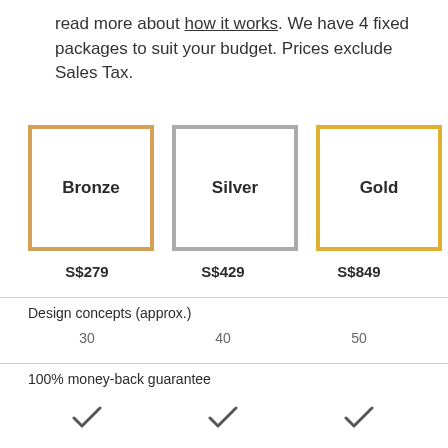read more about how it works. We have 4 fixed packages to suit your budget. Prices exclude Sales Tax.
[Figure (infographic): Four pricing package boxes: Bronze (bronze border), Silver (silver border), Gold (gold border), and a partially visible fourth (dark border). Below each box is the price: S$279, S$429, S$849. A comparison table follows with rows: Design concepts (approx.) with values 30, 40, 50; and 100% money-back guarantee with checkmarks.]
|  | Bronze | Silver | Gold |
| --- | --- | --- | --- |
|  | S$279 | S$429 | S$849 |
| Design concepts (approx.) | 30 | 40 | 50 |
| 100% money-back guarantee | ✓ | ✓ | ✓ |